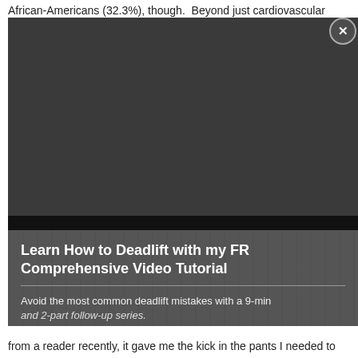African-Americans (32.3%), though. Beyond just cardiovascular
[Figure (screenshot): A modal popup overlay on a webpage showing a dark video player area at the top with a close button (X), a black separator bar, and a lower panel with blurred background image. The panel contains a title 'Learn How to Deadlift with my FR Comprehensive Video Tutorial', a horizontal divider, and description text 'Avoid the most common deadlift mistakes with a 9-min and 2-part follow-up series.']
from a reader recently, it gave me the kick in the pants I needed to